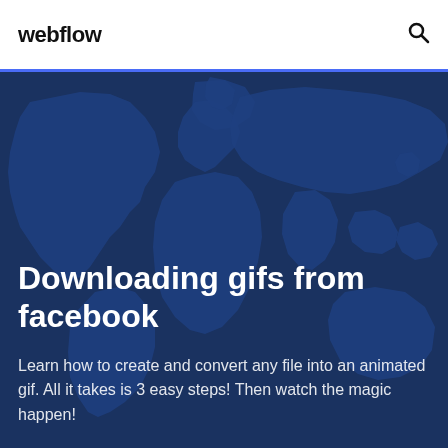webflow
[Figure (illustration): World map silhouette in dark teal/navy tones used as background for hero section]
Downloading gifs from facebook
Learn how to create and convert any file into an animated gif. All it takes is 3 easy steps! Then watch the magic happen!